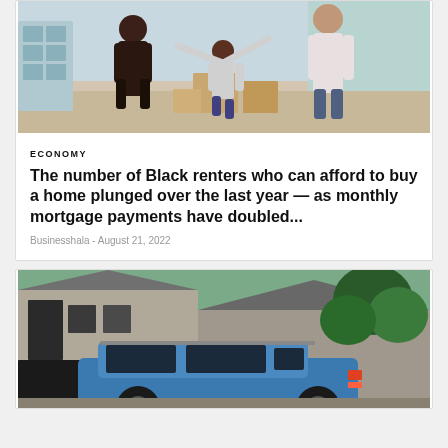[Figure (photo): Family with a child celebrating in a living room with moving boxes]
ECONOMY
The number of Black renters who can afford to buy a home plunged over the last year — as monthly mortgage payments have doubled...
Businesshala - August 21, 2022
[Figure (photo): Blue SUV parked in front of a house with trees in background]